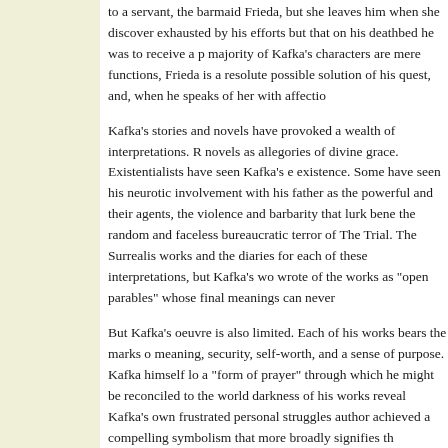to a servant, the barmaid Frieda, but she leaves him when she discovers exhausted by his efforts but that on his deathbed he was to receive a p majority of Kafka's characters are mere functions, Frieda is a resolute possible solution of his quest, and, when he speaks of her with affectio
Kafka's stories and novels have provoked a wealth of interpretations. novels as allegories of divine grace. Existentialists have seen Kafka's existence. Some have seen his neurotic involvement with his father as the powerful and their agents, the violence and barbarity that lurk bene the random and faceless bureaucratic terror of The Trial. The Surrealis works and the diaries for each of these interpretations, but Kafka's wo wrote of the works as "open parables" whose final meanings can never
But Kafka's oeuvre is also limited. Each of his works bears the marks meaning, security, self-worth, and a sense of purpose. Kafka himself lo a "form of prayer" through which he might be reconciled to the world darkness of his works reveal Kafka's own frustrated personal struggles author achieved a compelling symbolism that more broadly signifies th
At the time of his death, Kafka was appreciated only by a small literar Kafka's testament—two notes requiring his friend to destroy all unpub appeared in print. Brod took the opposite course, and thus the name an first during the regime of Adolf Hitler, in France and the English-spea concentration camps. After 1945 Kafka was rediscovered in Germany influence extended even to the intellectual, literary, and political life o